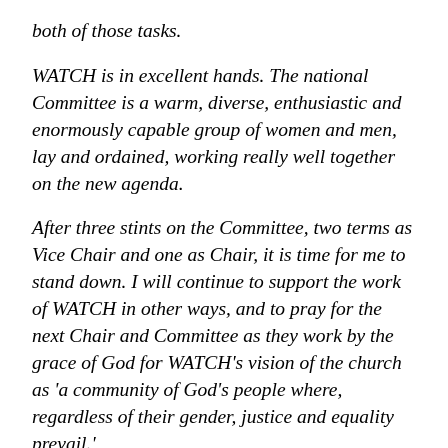both of those tasks.
WATCH is in excellent hands. The national Committee is a warm, diverse, enthusiastic and enormously capable group of women and men, lay and ordained, working really well together on the new agenda.
After three stints on the Committee, two terms as Vice Chair and one as Chair, it is time for me to stand down. I will continue to support the work of WATCH in other ways, and to pray for the next Chair and Committee as they work by the grace of God for WATCH's vision of the church as 'a community of God's people where, regardless of their gender, justice and equality prevail.'